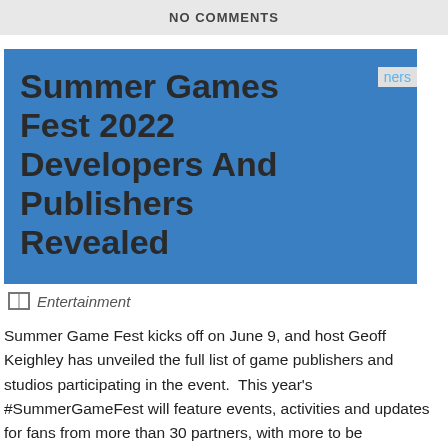NO COMMENTS
Summer Games Fest 2022 Developers And Publishers Revealed
Entertainment
Summer Game Fest kicks off on June 9, and host Geoff Keighley has unveiled the full list of game publishers and studios participating in the event.  This year's #SummerGameFest will feature events, activities and updates for fans from more than 30 partners, with more to be announced. It's going to be a great month for video game fans. Get ready! pic.twitter.com/vLaRGnbtBK — Geoff Keighley (@geoffkeighley) May 31, 2022 In the tweet posted above, Keighley states that SGF will feature events and